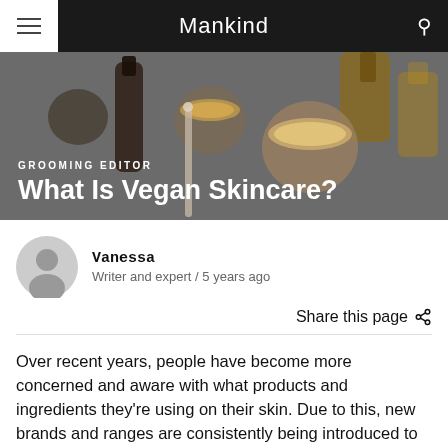Mankind
[Figure (photo): Flatlay of skincare products including jars and bottles on a dark surface]
GROOMING EDITOR
What Is Vegan Skincare?
Vanessa
Writer and expert / 5 years ago
Share this page
Over recent years, people have become more concerned and aware with what products and ingredients they're using on their skin. Due to this, new brands and ranges are consistently being introduced to the skincare world. These tend to have the main focus being either natural, vegan, vegetarian or cruelty-free. We have put a disclaimer on some of these, they...